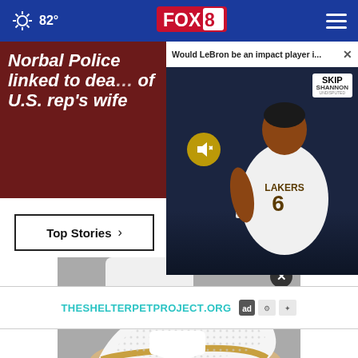82° FOX 8
Norbal Police linked to death of U.S. rep's wife
[Figure (screenshot): Video popup overlay showing LeBron James in Lakers #6 jersey with 'Would LeBron be an impact player i...' title and Skip and Shannon Undisputed branding]
Top Stories ›
[Figure (photo): Close-up photo of white sneaker/shoe with gold accent details on a person's foot]
THESHELTERPETPROJECT.ORG
The Sneakers for Standing All Day